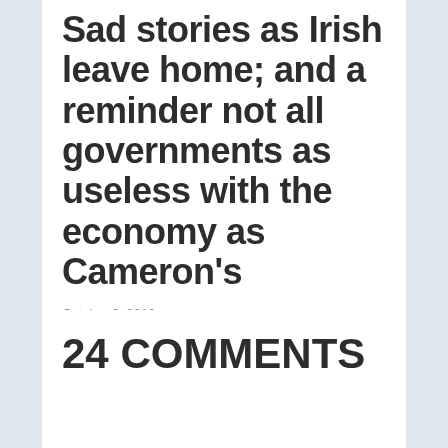Sad stories as Irish leave home; and a reminder not all governments as useless with the economy as Cameron's
October 6, 2012
24 COMMENTS